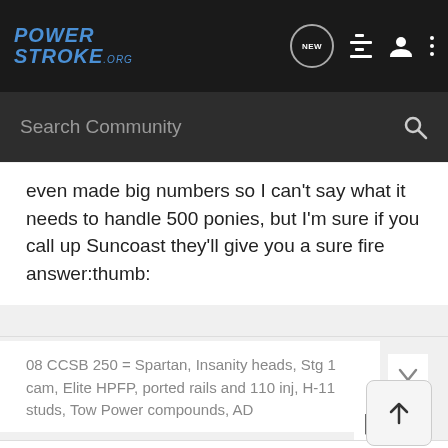PowerStroke.org — Search Community
even made big numbers so I can't say what it needs to handle 500 ponies, but I'm sure if you call up Suncoast they'll give you a sure fire answer:thumb:
08 CCSB 250 = Spartan, Insanity heads, Stg 1 cam, Elite HPFP, ported rails and 110 inj, H-11 studs, Tow Power compounds, AD